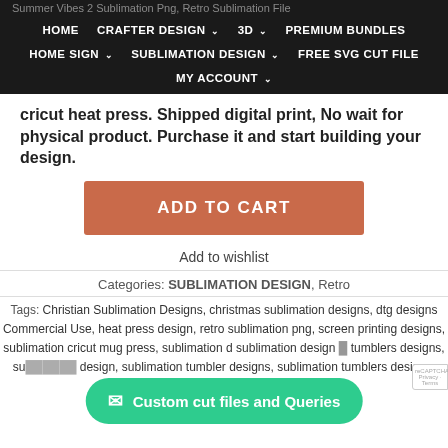Summer Vibes 2 Sublimation Png, Retro Sublimation File
HOME  CRAFTER DESIGN  3D  PREMIUM BUNDLES  HOME SIGN  SUBLIMATION DESIGN  FREE SVG CUT FILE  MY ACCOUNT
cricut heat press. Shipped digital print, No wait for physical product. Purchase it and start building your design.
ADD TO CART
Add to wishlist
Categories: SUBLIMATION DESIGN, Retro
Tags: Christian Sublimation Designs, christmas sublimation designs, dtg designs Commercial Use, heat press design, retro sublimation png, screen printing designs, sublimation cricut mug press, sublimation d sublimation design sublimation design tumblers designs, su design, sublimation tumbler designs, sublimation tumblers designs, tshirt
Custom cut files and Queries